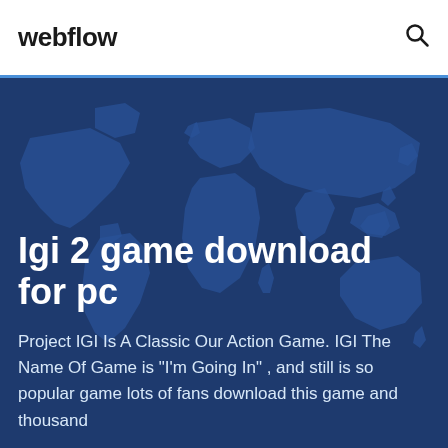webflow
Igi 2 game download for pc
Project IGI Is A Classic Our Action Game. IGI The Name Of Game is "I'm Going In" , and still is so popular game lots of fans download this game and thousand
[Figure (illustration): World map silhouette in dark blue tones used as hero background image]